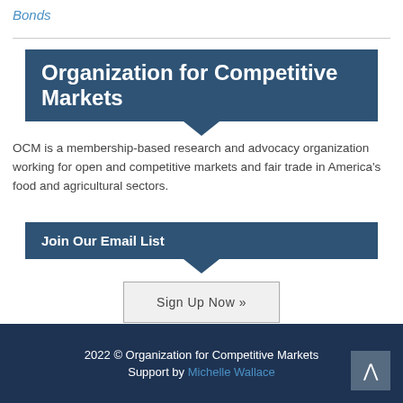Bonds
Organization for Competitive Markets
OCM is a membership-based research and advocacy organization working for open and competitive markets and fair trade in America's food and agricultural sectors.
Join Our Email List
Sign Up Now »
2022 © Organization for Competitive Markets Support by Michelle Wallace